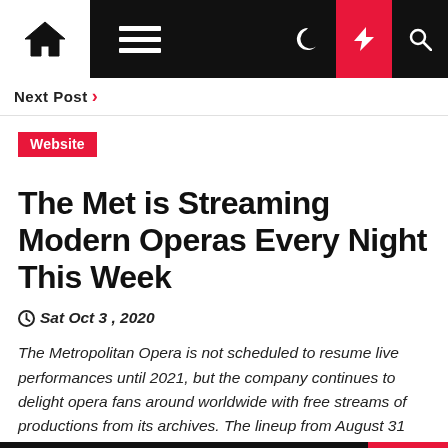Navigation bar with home icon, menu icon, moon icon, lightning icon, search icon
Next Post ›
Website
The Met is Streaming Modern Operas Every Night This Week
Sat Oct 3, 2020
The Metropolitan Opera is not scheduled to resume live performances until 2021, but the company continues to delight opera fans around worldwide with free streams of productions from its archives. The lineup from August 31 through September 6 is devoted entirely to works from the 20th century, including operas by [...]